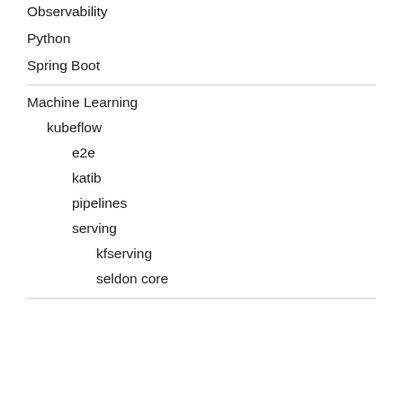Observability
Python
Spring Boot
Machine Learning
kubeflow
e2e
katib
pipelines
serving
kfserving
seldon core